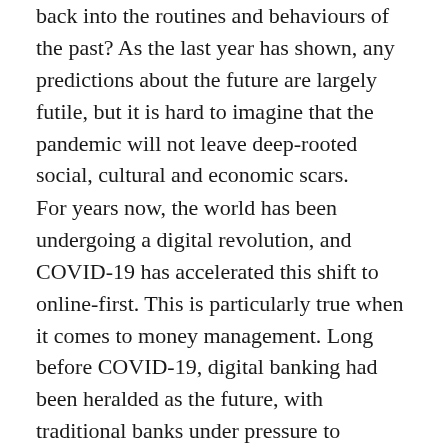back into the routines and behaviours of the past? As the last year has shown, any predictions about the future are largely futile, but it is hard to imagine that the pandemic will not leave deep-rooted social, cultural and economic scars.
For years now, the world has been undergoing a digital revolution, and COVID-19 has accelerated this shift to online-first. This is particularly true when it comes to money management. Long before COVID-19, digital banking had been heralded as the future, with traditional banks under pressure to modernise their services and offer practical, personalised options for a digital age and its increasingly tech-savvy consumers.